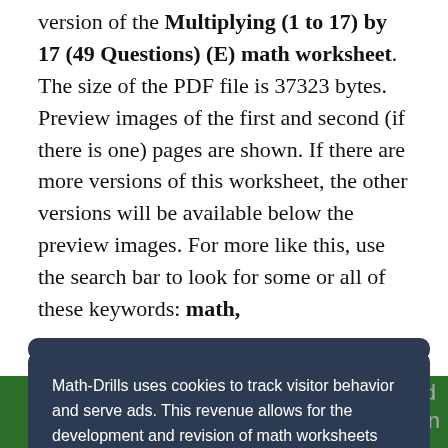version of the Multiplying (1 to 17) by 17 (49 Questions) (E) math worksheet. The size of the PDF file is 37323 bytes. Preview images of the first and second (if there is one) pages are shown. If there are more versions of this worksheet, the other versions will be available below the preview images. For more like this, use the search bar to look for some or all of these keywords: math,
Math-Drills uses cookies to track visitor behavior and serve ads. This revenue allows for the development and revision of math worksheets and other website features.
Privacy and Cookies Policy
Decline
Allow All Cookies